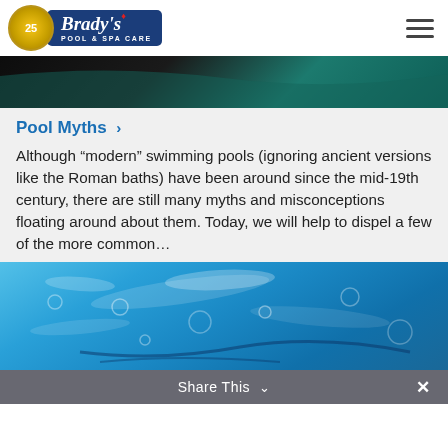Brady's Pool & Spa Care
[Figure (photo): Dark header image with teal wave gradient, partially visible at top of content area]
Pool Myths >
Although "modern" swimming pools (ignoring ancient versions like the Roman baths) have been around since the mid-19th century, there are still many myths and misconceptions floating around about them. Today, we will help to dispel a few of the more common...
[Figure (photo): Blue swimming pool water with bubbles and ripples, viewed from above]
Share This  ∨  ×